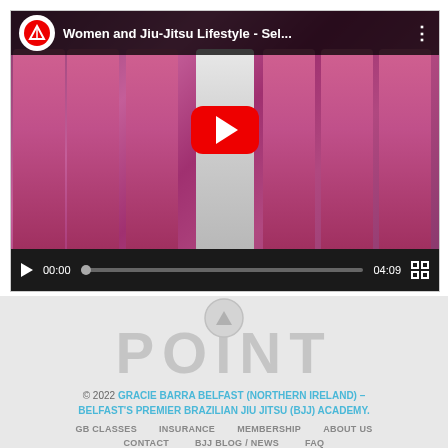[Figure (screenshot): YouTube video player showing 'Women and Jiu-Jitsu Lifestyle - Sel...' with women in pink martial arts gis. Controls show 00:00 / 04:09. Gracie Barra logo visible in top left of video.]
[Figure (other): Scroll-up arrow button (circle with upward triangle) in light gray]
POINT
© 2022 GRACIE BARRA BELFAST (NORTHERN IRELAND) – BELFAST'S PREMIER BRAZILIAN JIU JITSU (BJJ) ACADEMY.
GB CLASSES
INSURANCE
MEMBERSHIP
ABOUT US
CONTACT
BJJ BLOG / NEWS
FAQ